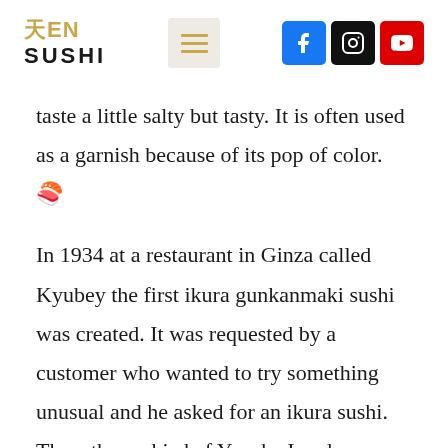天EN SUSHI [navigation bar with hamburger menu icon and social media icons: Facebook, Instagram, YouTube]
taste a little salty but tasty. It is often used as a garnish because of its pop of color. 🍣
In 1934 at a restaurant in Ginza called Kyubey the first ikura gunkanmaki sushi was created. It was requested by a customer who wanted to try something unusual and he asked for an ikura sushi. Thus, the sushi chef Yosuke Imada wrapped sushi rice with seaweed so the salmon roe would not fall